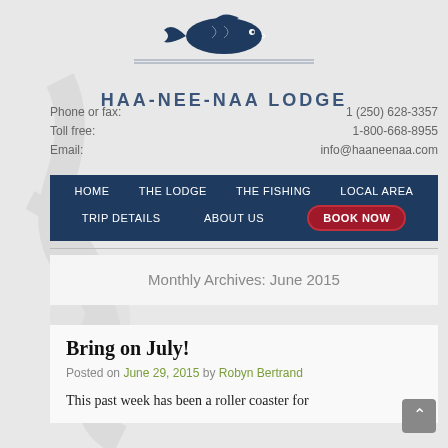[Figure (logo): Haa-Nee-Naa Lodge logo with a jumping fish over a horizontal line, with the lodge name below in bold spaced lettering]
Phone or fax:    1 (250) 628-3357
Toll free:    1-800-668-8955
Email:    info@haaneenaa.com
[Figure (other): Dark blue navigation bar with menu items: HOME, THE LODGE, THE FISHING, LOCAL AREA, TRIP DETAILS, ABOUT US, and a red BOOK NOW button]
Monthly Archives: June 2015
Bring on July!
Posted on June 29, 2015 by Robyn Bertrand
This past week has been a roller coaster for